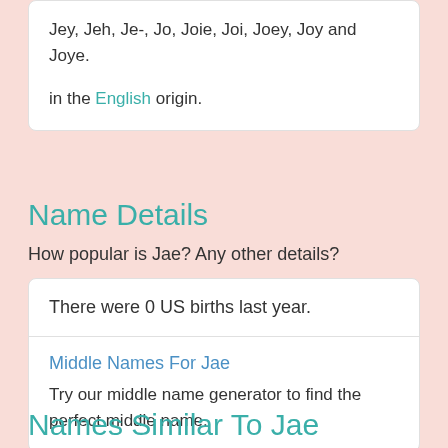Jey, Jeh, Je-, Jo, Joie, Joi, Joey, Joy and Joye.

in the English origin.
Name Details
How popular is Jae? Any other details?
There were 0 US births last year.
Middle Names For Jae
Try our middle name generator to find the perfect middle name.
Names Similar To Jae